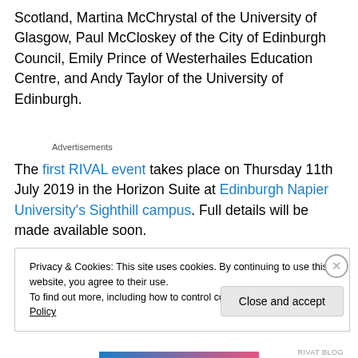Scotland, Martina McChrystal of the University of Glasgow, Paul McCloskey of the City of Edinburgh Council, Emily Prince of Westerhailes Education Centre, and Andy Taylor of the University of Edinburgh.
Advertisements
The first RIVAL event takes place on Thursday 11th July 2019 in the Horizon Suite at Edinburgh Napier University's Sighthill campus. Full details will be made available soon.
Privacy & Cookies: This site uses cookies. By continuing to use this website, you agree to their use.
To find out more, including how to control cookies, see here: Cookie Policy
Close and accept